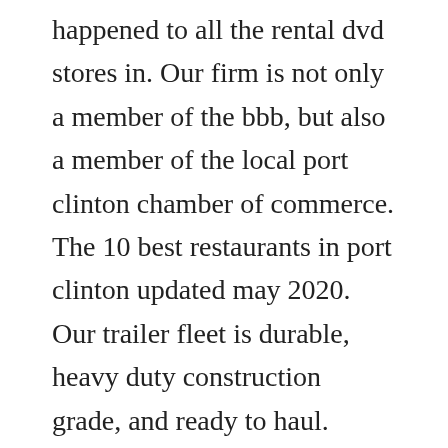happened to all the rental dvd stores in. Our firm is not only a member of the bbb, but also a member of the local port clinton chamber of commerce. The 10 best restaurants in port clinton updated may 2020. Our trailer fleet is durable, heavy duty construction grade, and ready to haul. During your stay at port clinton rentals, youll experience the comforts of home while being conveniently located in port clinton, ohio and nearby the portage river. Search and find clermont rental car deals on kayak now. You can watch local port clinton,